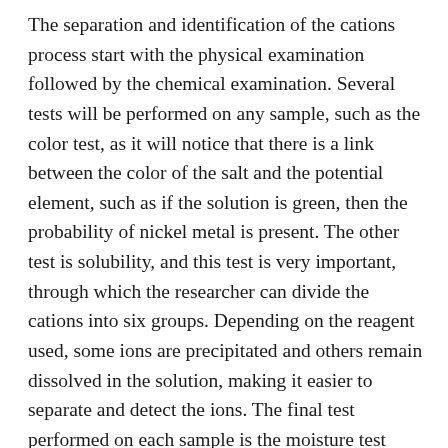The separation and identification of the cations process start with the physical examination followed by the chemical examination. Several tests will be performed on any sample, such as the color test, as it will notice that there is a link between the color of the salt and the potential element, such as if the solution is green, then the probability of nickel metal is present. The other test is solubility, and this test is very important, through which the researcher can divide the cations into six groups. Depending on the reagent used, some ions are precipitated and others remain dissolved in the solution, making it easier to separate and detect the ions. The final test performed on each sample is the moisture test wherein the student can identify ions through sedimentation or changing the color of ions in the sample. At the end of each chapter there is a simple summary of the work method for the six groups in the form of a template, which facilitates the follow-up process by students and researchers. The book also